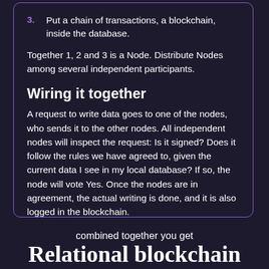3. Put a chain of transactions, a blockchain, inside the database.
Together 1, 2 and 3 is a Node. Distribute Nodes among several independent participants.
Wiring it together
A request to write data goes to one of the nodes, who sends it to the other nodes. All independent nodes will inspect the request: Is it signed? Does it follow the rules we have agreed to, given the current data I see in my local database? If so, the node will vote Yes. Once the nodes are in agreement, the actual writing is done, and it is also logged in the blockchain.
combined together you get
Relational blockchain